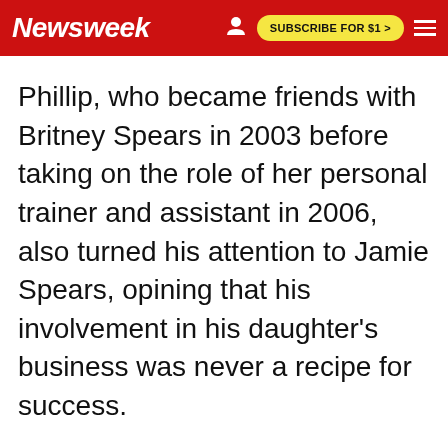Newsweek | SUBSCRIBE FOR $1 >
Phillip, who became friends with Britney Spears in 2003 before taking on the role of her personal trainer and assistant in 2006, also turned his attention to Jamie Spears, opining that his involvement in his daughter's business was never a recipe for success.